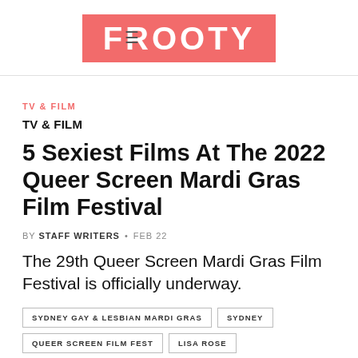FROOTY
TV & FILM
TV & FILM
5 Sexiest Films At The 2022 Queer Screen Mardi Gras Film Festival
BY STAFF WRITERS • FEB 22
The 29th Queer Screen Mardi Gras Film Festival is officially underway.
SYDNEY GAY & LESBIAN MARDI GRAS
SYDNEY
QUEER SCREEN FILM FEST
LISA ROSE
MARDI GRAS FILM FESTIVAL